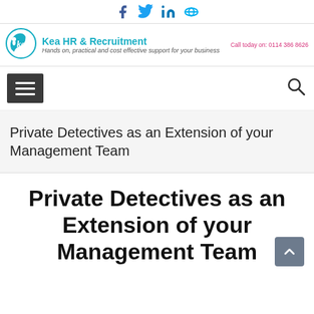Social media icons: Facebook, Twitter, LinkedIn, Skype
[Figure (logo): Kea HR & Recruitment logo with teal circular icon containing 'kea' text]
Kea HR & Recruitment
Hands on, practical and cost effective support for your business
Call today on: 0114 386 8626
[Figure (infographic): Navigation bar with hamburger menu icon and search icon]
Private Detectives as an Extension of your Management Team
Private Detectives as an Extension of your Management Team